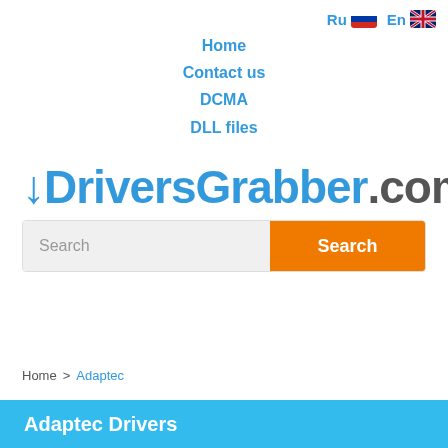Ru  En
Home
Contact us
DCMA
DLL files
DriversGrabber.com
[Figure (screenshot): Search bar with input field and orange Search button]
Home > Adaptec
Adaptec Drivers